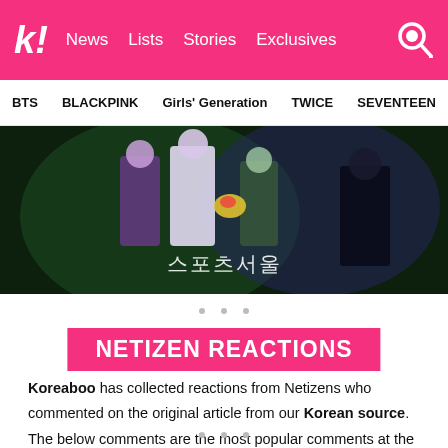k! News  Lists  Stories  Exclusives
BTS  BLACKPINK  Girls' Generation  TWICE  SEVENTEEN
[Figure (photo): Dark concert/event photo with people in purple and white outfits holding flowers, with Korean watermark text reading 스포츠서울]
NETIZEN REACTIONS
Koreaboo has collected reactions from Netizens who commented on the original article from our Korean source. The below comments are the most popular comments at the time of this article being published.